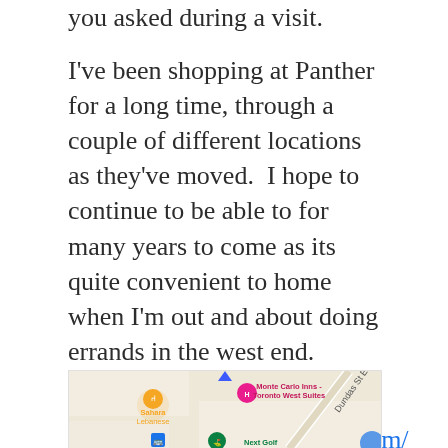you asked during a visit.
I've been shopping at Panther for a long time, through a couple of different locations as they've moved.  I hope to continue to be able to for many years to come as its quite convenient to home when I'm out and about doing errands in the west end.
Website: http://www.pantherhobbies.com/
Google Map:
[Figure (map): Google Map showing area around Panther Hobbies, with Sahara Lebanese restaurant, Monte Carlo Inns - Toronto West Suites, Next Golf, and Dundas St E visible.]